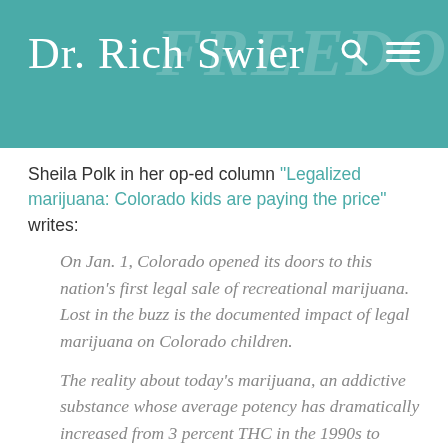Dr. Rich Swier
Sheila Polk in her op-ed column “Legalized marijuana: Colorado kids are paying the price” writes:
On Jan. 1, Colorado opened its doors to this nation’s first legal sale of recreational marijuana. Lost in the buzz is the documented impact of legal marijuana on Colorado children.
The reality about today’s marijuana, an addictive substance whose average potency has dramatically increased from 3 percent THC in the 1990s to almost 15 percent.